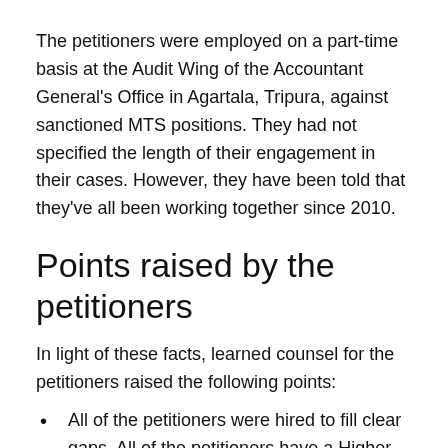The petitioners were employed on a part-time basis at the Audit Wing of the Accountant General's Office in Agartala, Tripura, against sanctioned MTS positions. They had not specified the length of their engagement in their cases. However, they have been told that they've all been working together since 2010.
Points raised by the petitioners
In light of these facts, learned counsel for the petitioners raised the following points:
All of the petitioners were hired to fill clear gaps. All of the petitioners have a Higher Secondary School pass, which is required by the recruitment guidelines for the position in question. In light of the Supreme Court's